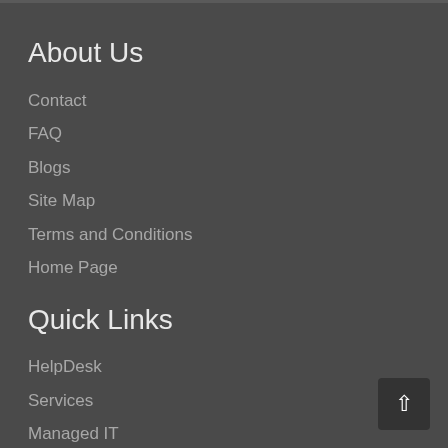About Us
Contact
FAQ
Blogs
Site Map
Terms and Conditions
Home Page
Quick Links
HelpDesk
Services
Managed IT
IT Support
On-Demand IT
Latest Posts